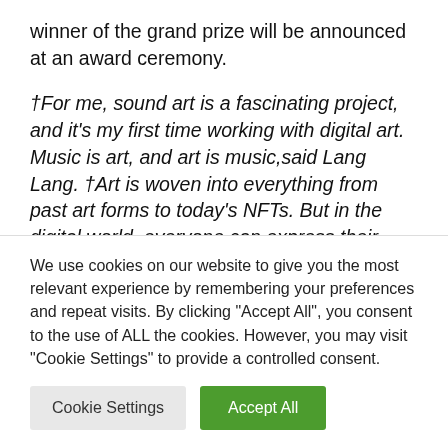winner of the grand prize will be announced at an award ceremony.
†For me, sound art is a fascinating project, and it's my first time working with digital art. Music is art, and art is music,said Lang Lang. †Art is woven into everything from past art forms to today's NFTs. But in the digital world, everyone can express their thoughts
We use cookies on our website to give you the most relevant experience by remembering your preferences and repeat visits. By clicking "Accept All", you consent to the use of ALL the cookies. However, you may visit "Cookie Settings" to provide a controlled consent.